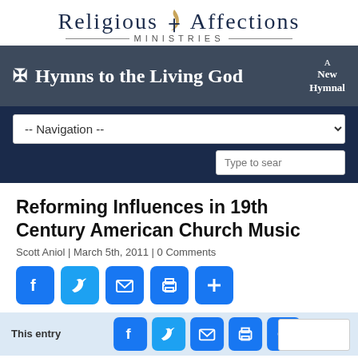[Figure (logo): Religious Affections Ministries logo with flame/cross icon and decorative ministries text bar]
[Figure (screenshot): Hymns to the Living God hymnal banner with dark background, cross icon, title and 'A New Hymnal' badge]
[Figure (screenshot): Navigation dropdown bar and search box on dark navy background]
Reforming Influences in 19th Century American Church Music
Scott Aniol | March 5th, 2011 | 0 Comments
[Figure (infographic): Row of 5 social sharing buttons: Facebook, Twitter, Email, Print, Plus on blue rounded squares]
This entry
[Figure (infographic): Bottom row of social sharing buttons overlaid on light blue footer bar]